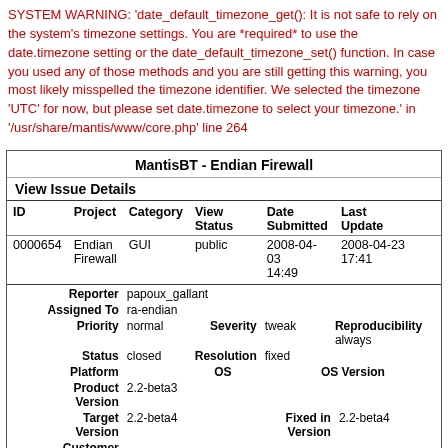SYSTEM WARNING: 'date_default_timezone_get(): It is not safe to rely on the system's timezone settings. You are *required* to use the date.timezone setting or the date_default_timezone_set() function. In case you used any of those methods and you are still getting this warning, you most likely misspelled the timezone identifier. We selected the timezone 'UTC' for now, but please set date.timezone to select your timezone.' in '/usr/share/mantis/www/core.php' line 264
| ID | Project | Category | View Status | Date Submitted | Last Update |
| --- | --- | --- | --- | --- | --- |
| 0000654 | Endian Firewall | GUI | public | 2008-04-03 14:49 | 2008-04-23 17:41 |
| Field | Value |
| --- | --- |
| Reporter | papoux_gallant |
| Assigned To | ra-endian |
| Priority | normal |
| Severity | tweak |
| Reproducibility | always |
| Status | closed |
| Resolution | fixed |
| Platform |  |
| OS |  |
| OS Version |  |
| Product Version | 2.2-beta3 |
| Target Version | 2.2-beta4 |
| Fixed in Version | 2.2-beta4 |
| Customer Importance |  |
| Customer |  |